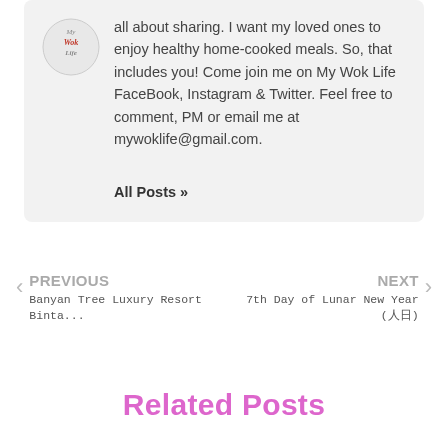all about sharing. I want my loved ones to enjoy healthy home-cooked meals. So, that includes you! Come join me on My Wok Life FaceBook, Instagram & Twitter. Feel free to comment, PM or email me at mywoklife@gmail.com.
All Posts »
PREVIOUS
Banyan Tree Luxury Resort Binta...
NEXT
7th Day of Lunar New Year (人日)
Related Posts